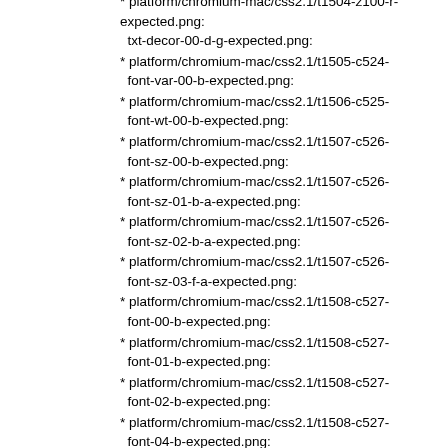platform/chromium-mac/css2.1/t1504-z100-r-expected.png: txt-decor-00-d-g-expected.png:
platform/chromium-mac/css2.1/t1505-c524-font-var-00-b-expected.png:
platform/chromium-mac/css2.1/t1506-c525-font-wt-00-b-expected.png:
platform/chromium-mac/css2.1/t1507-c526-font-sz-00-b-expected.png:
platform/chromium-mac/css2.1/t1507-c526-font-sz-01-b-a-expected.png:
platform/chromium-mac/css2.1/t1507-c526-font-sz-02-b-a-expected.png:
platform/chromium-mac/css2.1/t1507-c526-font-sz-03-f-a-expected.png:
platform/chromium-mac/css2.1/t1508-c527-font-00-b-expected.png:
platform/chromium-mac/css2.1/t1508-c527-font-01-b-expected.png:
platform/chromium-mac/css2.1/t1508-c527-font-02-b-expected.png:
platform/chromium-mac/css2.1/t1508-c527-font-04-b-expected.png:
platform/chromium-mac/css2.1/t1508-c527-font-05-b-expected.png:
platform/chromium-mac/css2.1/t1508-c527-font-06-b-expected.png:
platform/chromium-mac/css2.1/t1508-c527-font-07-b-expected.png:
platform/chromium-mac/css2.1/t1508-c527-font-08-b-expected.png:
platform/chromium-mac/css2.1/t1508-c527-